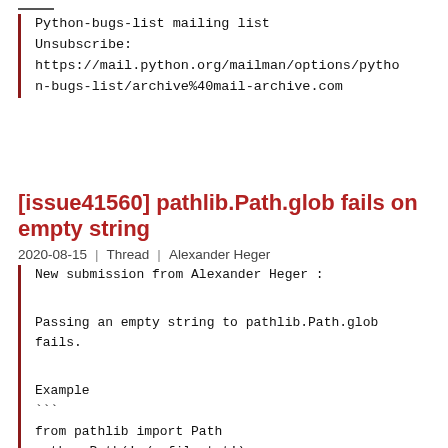Python-bugs-list mailing list
Unsubscribe:
https://mail.python.org/mailman/options/python-bugs-list/archive%40mail-archive.com
[issue41560] pathlib.Path.glob fails on empty string
2020-08-15 | Thread | Alexander Heger
New submission from Alexander Heger :

Passing an empty string to pathlib.Path.glob
fails.

Example
```
from pathlib import Path
path = Path('./myfile.txt')
path.glob('')
```